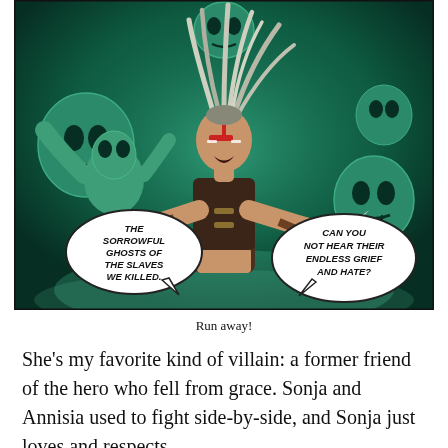[Figure (illustration): Comic book panel showing a female warrior character with wild dreadlocks and war paint, arms outstretched holding a knife, surrounded by green ghostly skulls and undead figures in the background. Two speech bubbles read: 'THE SORROWFUL GHOSTS OF THE SLAVES WE KILLED.' and 'CAN YOU NOT HEAR THEIR ENDLESS GRIEF AND HATE?']
Run away!
She's my favorite kind of villain: a former friend of the hero who fell from grace. Sonja and Annisia used to fight side-by-side, and Sonja just loves and respects